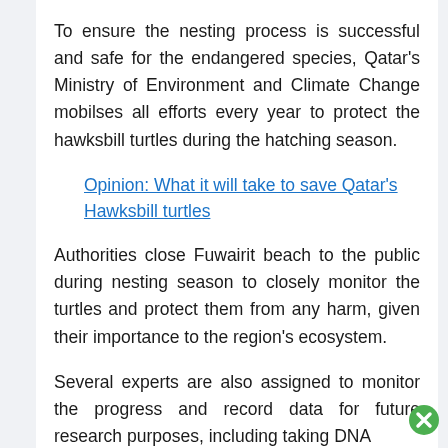To ensure the nesting process is successful and safe for the endangered species, Qatar's Ministry of Environment and Climate Change mobilses all efforts every year to protect the hawksbill turtles during the hatching season.
Opinion: What it will take to save Qatar's Hawksbill turtles
Authorities close Fuwairit beach to the public during nesting season to closely monitor the turtles and protect them from any harm, given their importance to the region's ecosystem.
Several experts are also assigned to monitor the progress and record data for future research purposes, including taking DNA